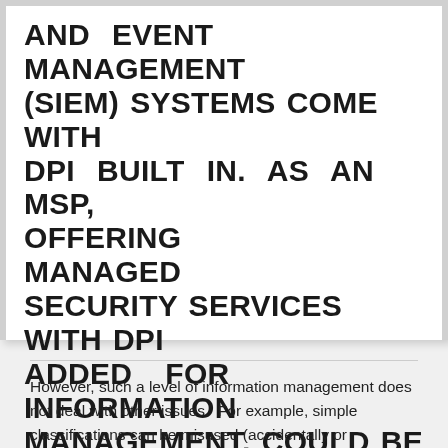AND EVENT MANAGEMENT (SIEM) SYSTEMS COME WITH DPI BUILT IN. AS AN MSP, OFFERING MANAGED SECURITY SERVICES WITH DPI ADDED FOR INFORMATION MANAGEMENT, COULD BE A GOOD DIFFERENTIATOR.
CLICK TO TWEET
However, such a level of information management does not deal with other issues.  For example, simple classifications can be misused (accidentally or maliciously).  A document